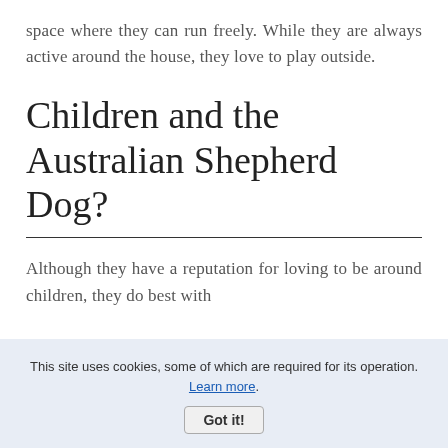space where they can run freely. While they are always active around the house, they love to play outside.
Children and the Australian Shepherd Dog?
Although they have a reputation for loving to be around children, they do best with
This site uses cookies, some of which are required for its operation. Learn more.
Got it!